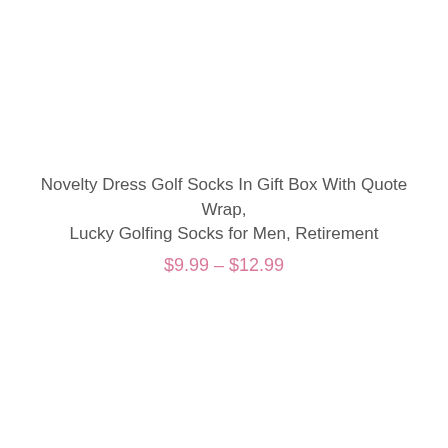Novelty Dress Golf Socks In Gift Box With Quote Wrap, Lucky Golfing Socks for Men, Retirement
$9.99 – $12.99